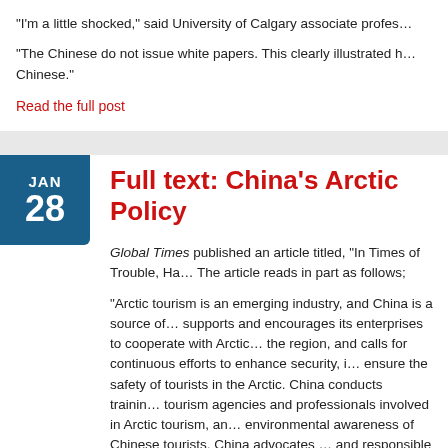“I’m a little shocked,” said University of Calgary associate profes…
“The Chinese do not issue white papers. This clearly illustrated h… Chinese.”
Read the full post
Full text: China’s Arctic Policy
Global Times published an article titled, “In Times of Trouble, Ha… The article reads in part as follows;
“Arctic tourism is an emerging industry, and China is a source of… supports and encourages its enterprises to cooperate with Arctic… the region, and calls for continuous efforts to enhance security, i… ensure the safety of tourists in the Arctic. China conducts trainin… tourism agencies and professionals involved in Arctic tourism, an… environmental awareness of Chinese tourists. China advocates … and responsible tourism, and hopes to contribute to the sustaina…
Read the full post